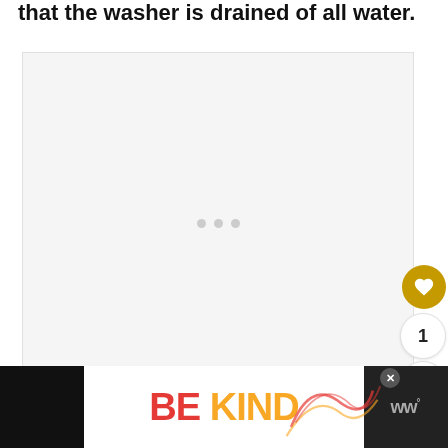that the washer is drained of all water.
[Figure (photo): Large empty image placeholder with loading dots, indicating an image is loading. Gray background with three small gray circles centered.]
[Figure (infographic): What's Next panel showing a thumbnail of a kitchen appliance (dishwasher) and the text 'What Size Appliance P...' with a right arrow next to 'WHAT'S NEXT']
[Figure (infographic): Advertisement banner reading 'BE KIND' in large colorful letters with decorative script text overlay and a close button. Right side shows WW logo on dark background.]